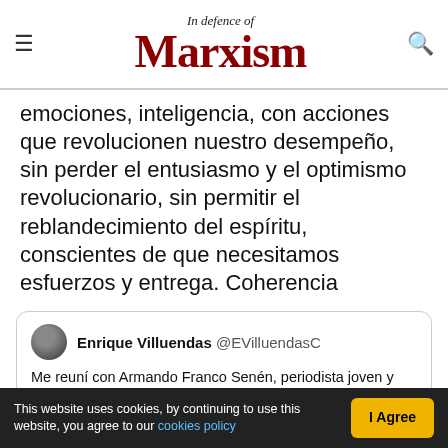In defence of Marxism
emociones, inteligencia, con acciones que revolucionen nuestro desempeño, sin perder el entusiasmo y el optimismo revolucionario, sin permitir el reblandecimiento del espíritu, conscientes de que necesitamos esfuerzos y entrega. Coherencia
Enrique Villuendas @EVilluendasC
Me reuní con Armando Franco Senén, periodista joven y talentoso, quien tiene mucho que aportar. Escuché sus preocupaciones sobre la @AlmaMater_Rev, y le ratifiqué la voluntad del @PartidoPCC de atenderlas.
This website uses cookies, by continuing to use this website, you agree to our cookies policy | I Agree